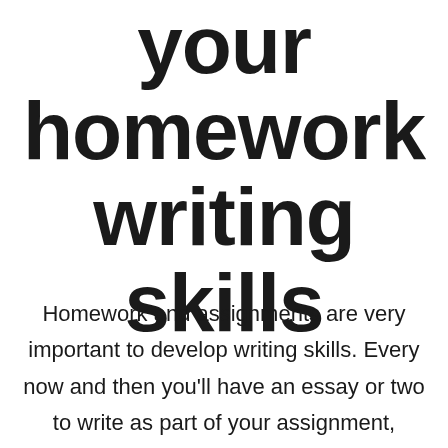your homework writing skills
Homework and assignments are very important to develop writing skills. Every now and then you'll have an essay or two to write as part of your assignment, whether a freelance work or part of your term. By the end of the term, there